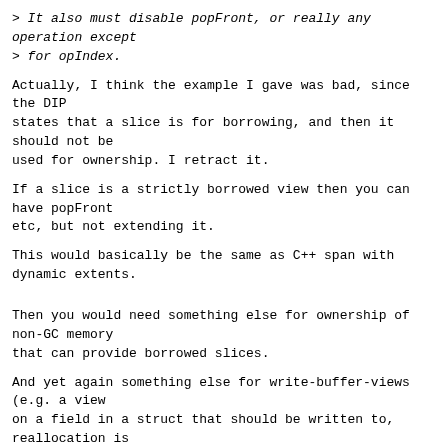> It also must disable popFront, or really any operation except
> for opIndex.
Actually, I think the example I gave was bad, since the DIP
states that a slice is for borrowing, and then it should not be
used for ownership. I retract it.
If a slice is a strictly borrowed view then you can have popFront
etc, but not extending it.
This would basically be the same as C++ span with dynamic extents.
Then you would need something else for ownership of non-GC memory
that can provide borrowed slices.
And yet again something else for write-buffer-views (e.g. a view
on a field in a struct that should be written to, reallocation is
bad in that situation).
So you need basically 3 different types. I think…